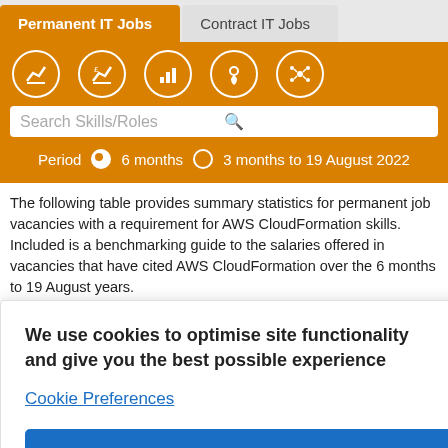Permanent IT Jobs | Contract IT Jobs
[Figure (screenshot): Navigation icon row with 5 white circular icons on orange background: trend chart, salary chart, bar chart, location pin, network/skills]
Search Skills/Roles
Period  6 months  3 months to 19 August 2022
The following table provides summary statistics for permanent job vacancies with a requirement for AWS CloudFormation skills. Included is a benchmarking guide to the salaries offered in vacancies that have cited AWS CloudFormation over the 6 months to 19 August [years].
| Same period 2020 |
| --- |
| 322 |
| ▲ +89 |
We use cookies to optimise site functionality and give you the best possible experience
Cookie Preferences
Accept
Rank change year on year  ▼ 20  ▲ +75  ▲ +89